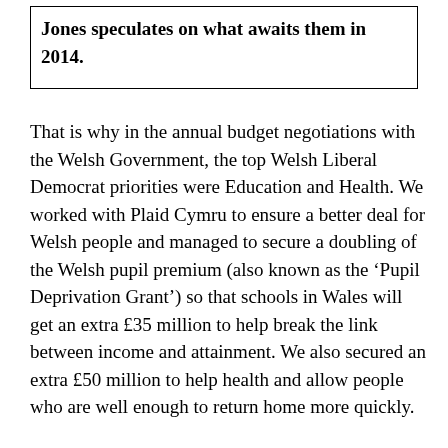Jones speculates on what awaits them in 2014.
That is why in the annual budget negotiations with the Welsh Government, the top Welsh Liberal Democrat priorities were Education and Health. We worked with Plaid Cymru to ensure a better deal for Welsh people and managed to secure a doubling of the Welsh pupil premium (also known as the ‘Pupil Deprivation Grant’) so that schools in Wales will get an extra £35 million to help break the link between income and attainment. We also secured an extra £50 million to help health and allow people who are well enough to return home more quickly.
The coming year will be highly significant politically. For the first time in centuries the United Kingdom could be broken up. It is absolutely right that the Scottish people are having a say on their membership of the United Kingdom, but I truly hope they remain with us. I